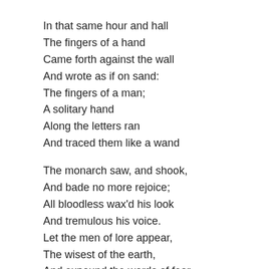In that same hour and hall
The fingers of a hand
Came forth against the wall
And wrote as if on sand:
The fingers of a man;
A solitary hand
Along the letters ran
And traced them like a wand
The monarch saw, and shook,
And bade no more rejoice;
All bloodless wax'd his look
And tremulous his voice.
Let the men of lore appear,
The wisest of the earth,
And expound the words of fear,
Which mar our royal mirth
Chaldea's seers are good
But here they have no skill,